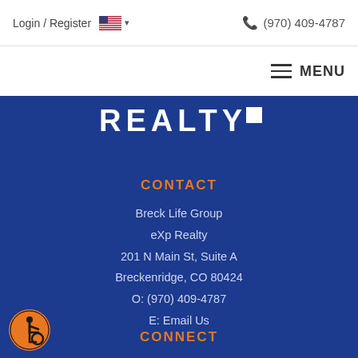Login / Register  (970) 409-4787
MENU
[Figure (logo): REALTY logo text in white on blue background with small white square icon]
CONTACT
Breck Life Group
eXp Realty
201 N Main St, Suite A
Breckenridge, CO 80424
O: (970) 409-4787
E: Email Us
CONNECT
[Figure (illustration): Accessibility icon: orange circle with wheelchair user symbol in black]